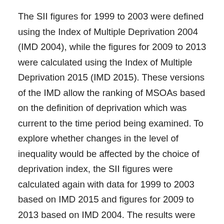The SII figures for 1999 to 2003 were defined using the Index of Multiple Deprivation 2004 (IMD 2004), while the figures for 2009 to 2013 were calculated using the Index of Multiple Deprivation 2015 (IMD 2015). These versions of the IMD allow the ranking of MSOAs based on the definition of deprivation which was current to the time period being examined. To explore whether changes in the level of inequality would be affected by the choice of deprivation index, the SII figures were calculated again with data for 1999 to 2003 based on IMD 2015 and figures for 2009 to 2013 based on IMD 2004. The results were consistent, demonstrating that the change in IMD has had little impact on the scale of inequality.